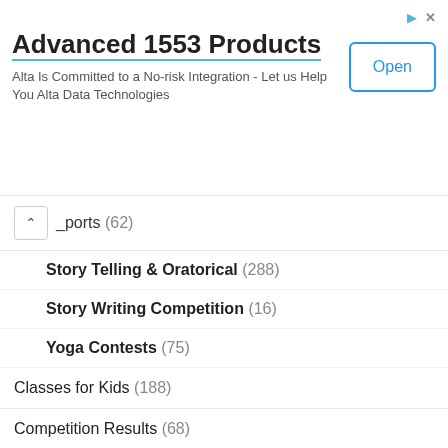[Figure (screenshot): Advertisement banner for 'Advanced 1553 Products' by Alta Data Technologies with an Open button]
Sports (62)
Story Telling & Oratorical (288)
Story Writing Competition (16)
Yoga Contests (75)
Classes for Kids (188)
Competition Results (68)
Events (182)
General (150)
International Art Competitions (116)
Kids Contests (1,208)